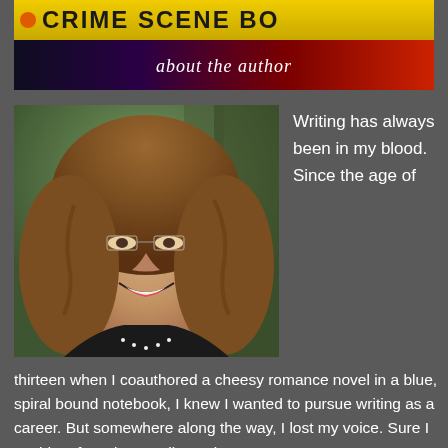[Figure (illustration): Crime Scene book/blog header banner with yellow crime tape reading 'CRIME SCENE' at top and 'about the author' subtitle below, on a dark gradient background]
[Figure (photo): Author photo: smiling woman with long wavy brown hair and rimless glasses, wearing a black top with white detail, photographed outdoors in front of trees]
Writing has always been in my blood. Since the age of
thirteen when I coauthored a cheesy romance novel in a blue, spiral bound notebook, I knew I wanted to pursue writing as a career. But somewhere along the way, I lost my voice. Sure I could craft a witty email or write